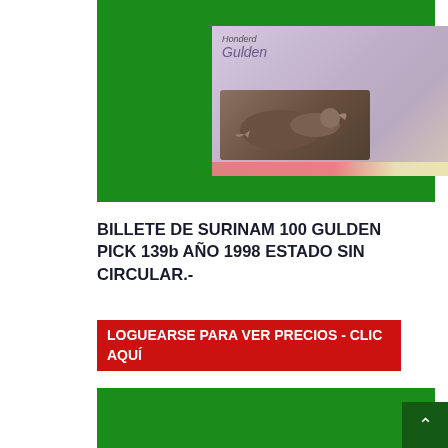[Figure (photo): Photo of a Surinam 100 Gulden banknote (Pick 139b, 1998) displayed on a green background. The note shows a bird and the number 100.]
BILLETE DE SURINAM 100 GULDEN PICK 139b AÑO 1998 ESTADO SIN CIRCULAR.-
LOGUEARSE PARA VER PRECIOS - CLIC AQUÍ
[Figure (other): Green banner at the bottom of the page, partial view.]